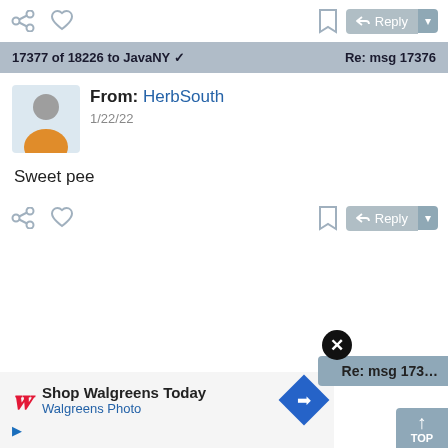[Figure (screenshot): Top toolbar with share icon, heart icon, bookmark icon, and Reply button]
17377 of 18226 to JavaNY ✓   Re: msg 17376
From: HerbSouth
1/22/22
Sweet pee
[Figure (screenshot): Bottom toolbar with share icon, heart icon, bookmark icon, and Reply button]
[Figure (screenshot): Ad banner: Shop Walgreens Today, Walgreens Photo, with navigation arrow and play button]
Re: msg 173...
TOP